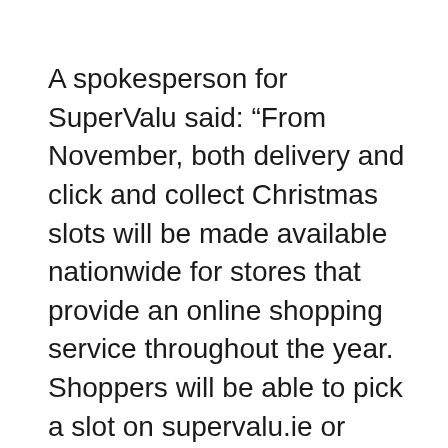A spokesperson for SuperValu said: “From November, both delivery and click and collect Christmas slots will be made available nationwide for stores that provide an online shopping service throughout the year. Shoppers will be able to pick a slot on supervalu.ie or through the SuperValu shopping app for their local store. Online shoppers can amend their order up to 6pm the day before their delivery or collection.”
SuperValu turkeys are expected to be available in the same quantities and range as in previous years. “All our fresh turkeys are Irish sourced and Bord Bia approved and